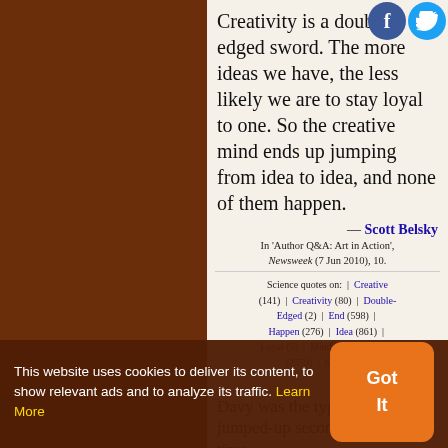Creativity is a double-edged sword. The more ideas we have, the less likely we are to stay loyal to one. So the creative mind ends up jumping from idea to idea, and none of them happen.
— Scott Belsky
In 'Author Q&A: Art in Action', Newsweek (7 Jun 2010), 10.
Science quotes on: | Creative (141) | Creativity (80) | Double-Edged (2) | End (598) | Happen (276) | Idea (861) | Loyal (5) | Mind (1359) | More (2559) | Sword (15)
Davy was the type of all the jumped-up second-raters of all time.
— Baron C.P. Snow
This website uses cookies to deliver its content, to show relevant ads and to analyze its traffic. Learn More
Got It